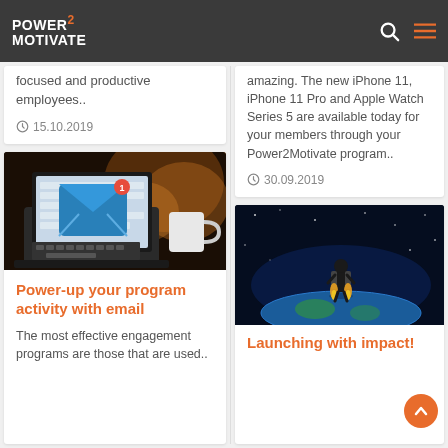POWER2MOTIVATE
focused and productive employees..
15.10.2019
[Figure (photo): Laptop with email notification icon on screen, coffee mug in background, warm bokeh lighting]
Power-up your program activity with email
The most effective engagement programs are those that are used..
amazing. The new iPhone 11, iPhone 11 Pro and Apple Watch Series 5 are available today for your members through your Power2Motivate program..
30.09.2019
[Figure (photo): Businessman in suit standing on planet Earth with jetpack rocket boosters, space background with stars]
Launching with impact!